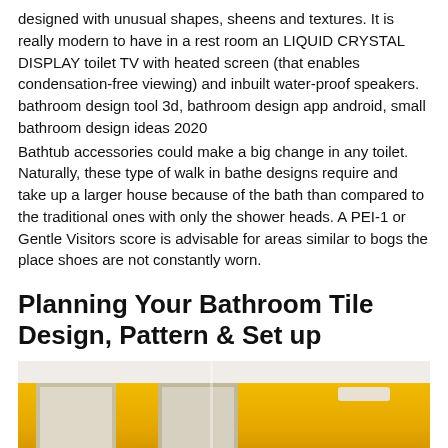designed with unusual shapes, sheens and textures. It is really modern to have in a rest room an LIQUID CRYSTAL DISPLAY toilet TV with heated screen (that enables condensation-free viewing) and inbuilt water-proof speakers. bathroom design tool 3d, bathroom design app android, small bathroom design ideas 2020
Bathtub accessories could make a big change in any toilet. Naturally, these type of walk in bathe designs require and take up a larger house because of the bath than compared to the traditional ones with only the shower heads. A PEI-1 or Gentle Visitors score is advisable for areas similar to bogs the place shoes are not constantly worn.
Planning Your Bathroom Tile Design, Pattern & Set up
[Figure (photo): Photograph of a bathroom interior with bright yellow/golden walls, white ceiling with crown molding, framed mirrors or artwork on the wall, and a light fixture on the right side wall.]